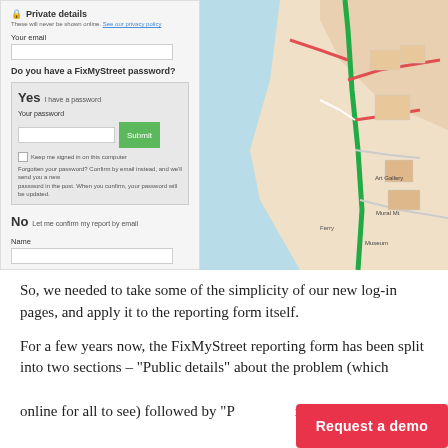[Figure (screenshot): Screenshot of FixMyStreet reporting form showing Private details section with email field, password yes/no options, and a map panel showing a street map with a location pin]
So, we needed to take some of the simplicity of our new log-in pages, and apply it to the reporting form itself.
For a few years now, the FixMyStreet reporting form has been split into two sections – "Public details" about the problem (which online for all to see) followed by "Private details
Request a demo